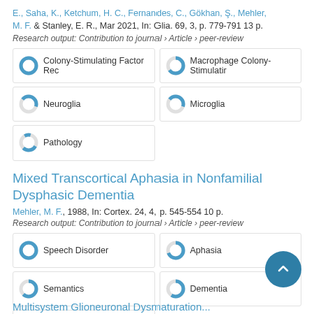E., Saha, K., Ketchum, H. C., Fernandes, C., Gökhan, Ş., Mehler, M. F. & Stanley, E. R., Mar 2021, In: Glia. 69, 3, p. 779-791 13 p.
Research output: Contribution to journal › Article › peer-review
Colony-Stimulating Factor Rec
Macrophage Colony-Stimulatir
Neuroglia
Microglia
Pathology
Mixed Transcortical Aphasia in Nonfamilial Dysphasic Dementia
Mehler, M. F., 1988, In: Cortex. 24, 4, p. 545-554 10 p.
Research output: Contribution to journal › Article › peer-review
Speech Disorder
Aphasia
Semantics
Dementia
Dementia
Multisystem Glioneuronal Dysmaturation...